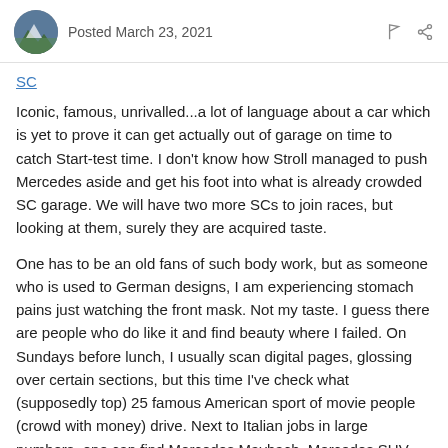Posted March 23, 2021
SC
Iconic, famous, unrivalled...a lot of language about a car which is yet to prove it can get actually out of garage on time to catch Start-test time. I don't know how Stroll managed to push Mercedes aside and get his foot into what is already crowded SC garage. We will have two more SCs to join races, but looking at them, surely they are acquired taste.
One has to be an old fans of such body work, but as someone who is used to German designs, I am experiencing stomach pains just watching the front mask. Not my taste. I guess there are people who do like it and find beauty where I failed. On Sundays before lunch, I usually scan digital pages, glossing over certain sections, but this time I've check what (supposedly top) 25 famous American sport of movie people (crowd with money) drive. Next to Italian jobs in large numbers, one can find Mercedes Maybach, Mercedes SUV, Mercedes AMG, BMW RR, VW Audi, VW Bentley, one VW Porsche, one Tata Range Rover, but not a single AM. I must be probably looking at "wrong" people then. Stroll needs to ramp up bloated rhetoric even more than it is already, if he wants to penetrate that crowd's buying habits. Let's hope money spent